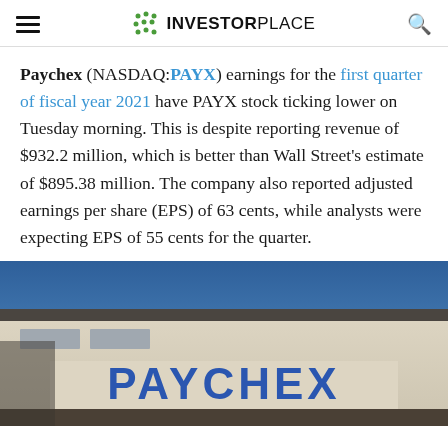INVESTORPLACE
Paychex (NASDAQ:PAYX) earnings for the first quarter of fiscal year 2021 have PAYX stock ticking lower on Tuesday morning. This is despite reporting revenue of $932.2 million, which is better than Wall Street's estimate of $895.38 million. The company also reported adjusted earnings per share (EPS) of 63 cents, while analysts were expecting EPS of 55 cents for the quarter.
[Figure (photo): Photograph of a Paychex building exterior showing the PAYCHEX logo sign against a blue sky background.]